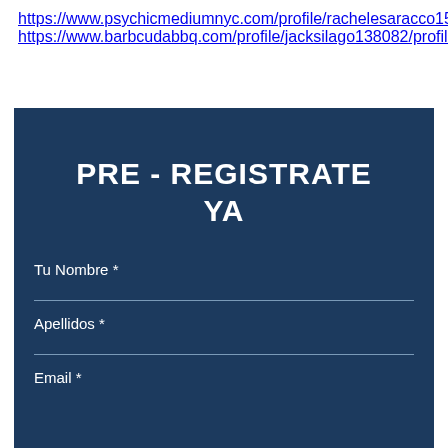https://www.psychicmediumnyc.com/profile/rachelesaracco150726/profile
https://www.barbcudabbq.com/profile/jacksilago138082/profile
[Figure (other): Dark navy blue pre-registration form box with title PRE - REGISTRATE YA and fields: Tu Nombre *, Apellidos *, Email *]
PRE - REGISTRATE YA
Tu Nombre *
Apellidos *
Email *